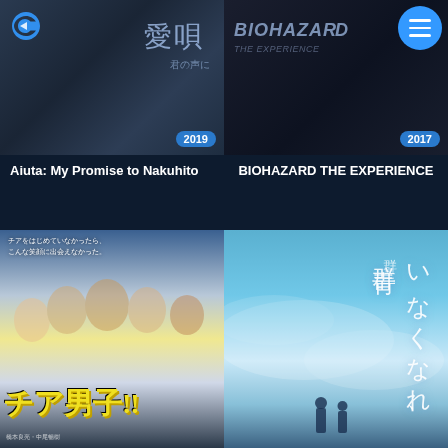[Figure (photo): Movie thumbnail for Aiuta: My Promise to Nakuhito (2019) with Japanese title text and cast]
Aiuta: My Promise to Nakuhito
[Figure (photo): Movie thumbnail for BIOHAZARD THE EXPERIENCE (2017) with dark background and hamburger menu button]
BIOHAZARD THE EXPERIENCE
[Figure (photo): Movie poster for Cheer Boys (Cheer Danshi) with Japanese cheerleading team cast]
[Figure (photo): Movie poster for Gunjo: Gunjoh - いなくなれ、群青 with scenic sky background and two figures]